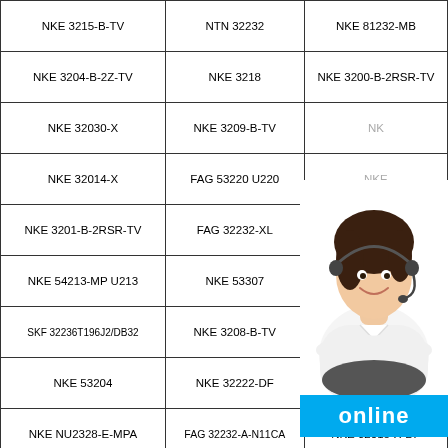| NKE 3215-B-TV | NTN 32232 | NKE 81232-MB |
| NKE 3204-B-2Z-TV | NKE 3218 | NKE 3200-B-2RSR-TV |
| NKE 32030-X | NKE 3209-B-TV | NK… |
| NKE 32014-X | FAG 53220 U220 | NKE… |
| NKE 3201-B-2RSR-TV | FAG 32232-XL |  |
| NKE 54213-MP U213 | NKE 53307 | NKE… |
| SKF 32236T196J2/DB32 | NKE 3208-B-TV | NI… |
| NKE 53204 | NKE 32222-DF | NKE 53224+U224 |
| NKE NU2328-E-MPA | FAG 32232-A-N11CA | NKE 32018-X-DF |
| NKE NU2304-E-MPA | NKE 32204-N-DF | NKE 32200-N-DF |
[Figure (photo): Customer service representative (woman with headset smiling) overlaid on table, with cyan 'online' badge below]